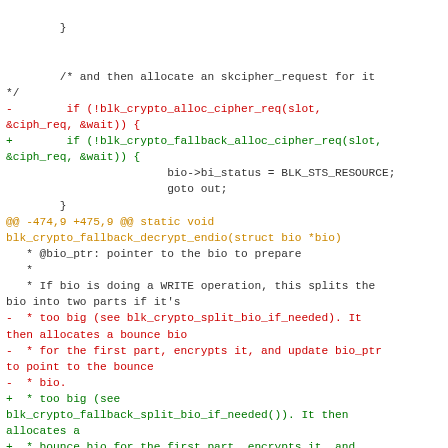}

        /* and then allocate an skcipher_request for it */
-        if (!blk_crypto_alloc_cipher_req(slot, &ciph_req, &wait)) {
+        if (!blk_crypto_fallback_alloc_cipher_req(slot, &ciph_req, &wait)) {
                        bio->bi_status = BLK_STS_RESOURCE;
                        goto out;
        }
@@ -474,9 +475,9 @@ static void blk_crypto_fallback_decrypt_endio(struct bio *bio)
   * @bio_ptr: pointer to the bio to prepare
   *
   * If bio is doing a WRITE operation, this splits the bio into two parts if it's
-  * too big (see blk_crypto_split_bio_if_needed). It then allocates a bounce bio
-  * for the first part, encrypts it, and update bio_ptr to point to the bounce
-  * bio.
+  * too big (see blk_crypto_fallback_split_bio_if_needed()). It then allocates a
+  * bounce bio for the first part, encrypts it, and updates bio_ptr to point to
+  * the bounce bio.
   *
   * For a READ operation, we mark the bio for
   decryption by using bi_private and